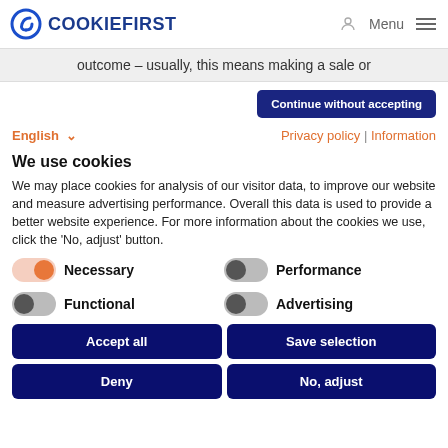COOKIEFIRST  Menu
outcome – usually, this means making a sale or
Continue without accepting
English  Privacy policy | Information
We use cookies
We may place cookies for analysis of our visitor data, to improve our website and measure advertising performance. Overall this data is used to provide a better website experience. For more information about the cookies we use, click the 'No, adjust' button.
Necessary
Performance
Functional
Advertising
Accept all
Save selection
Deny
No, adjust